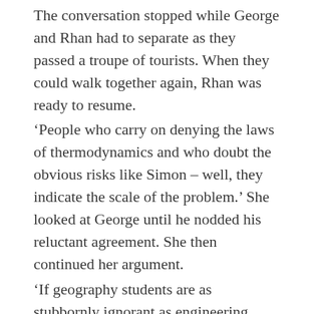The conversation stopped while George and Rhan had to separate as they passed a troupe of tourists. When they could walk together again, Rhan was ready to resume.
‘People who carry on denying the laws of thermodynamics and who doubt the obvious risks like Simon – well, they indicate the scale of the problem.’ She looked at George until he nodded his reluctant agreement. She then continued her argument.
‘If geography students are as stubbornly ignorant as engineering students, then we are running into the problem with our eyes shut. I have a nasty feeling that floods, wars, famine and so much more will have secondary impacts